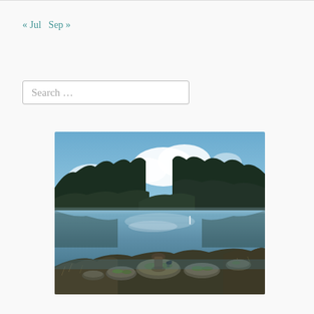« Jul   Sep »
Search …
[Figure (photo): A scenic outdoor photograph showing a calm lake or inlet surrounded by dense evergreen trees on both sides. The reflective water mirrors the dramatic blue sky with large white clouds. In the foreground, moss-covered rocks emerge from the water, and a small bird stands on one of them. The scene has a cool, slightly overcast blue tone.]